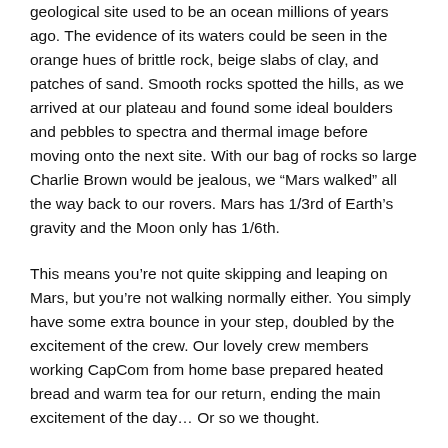geological site used to be an ocean millions of years ago. The evidence of its waters could be seen in the orange hues of brittle rock, beige slabs of clay, and patches of sand. Smooth rocks spotted the hills, as we arrived at our plateau and found some ideal boulders and pebbles to spectra and thermal image before moving onto the next site. With our bag of rocks so large Charlie Brown would be jealous, we “Mars walked” all the way back to our rovers. Mars has 1/3rd of Earth’s gravity and the Moon only has 1/6th.
This means you’re not quite skipping and leaping on Mars, but you’re not walking normally either. You simply have some extra bounce in your step, doubled by the excitement of the crew. Our lovely crew members working CapCom from home base prepared heated bread and warm tea for our return, ending the main excitement of the day… Or so we thought.